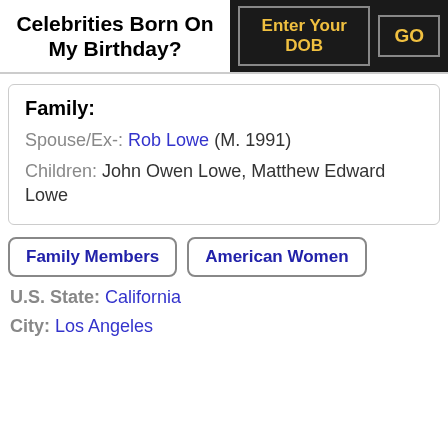Celebrities Born On My Birthday?
Family: Spouse/Ex-: Rob Lowe (M. 1991) Children: John Owen Lowe, Matthew Edward Lowe
Family Members
American Women
U.S. State: California
City: Los Angeles